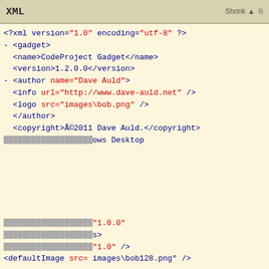XML    Shrink ▲
<?xml version="1.0" encoding="utf-8" ?>
- <gadget>
    <name>CodeProject Gadget</name>
    <version>1.2.0.0</version>
  - <author name="Dave Auld">
      <info url="http://www.dave-auld.net" />
      <logo src="images\bob.png" />
      </author>
      <copyright>©2011 Dave Auld.</copyright>
      ...ows Desktop
      ..."1.0.0"
      ...s>
      ..."1.0" />
      <defaultImage src= images\bob128.png" />
Like every other website we use cookies. By using our site you acknowledge that you have read and understand our Cookie Policy, Privacy Policy, and our Terms of Service.
Learn more
Ask me later   Decline   Allow cookies